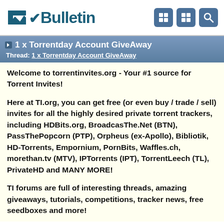[Figure (logo): vBulletin logo in dark teal with checkmark icon, plus navigation icons (grid and search) on the right]
1 x Torrentday Account GiveAway
Thread: 1 x Torrentday Account GiveAway
Welcome to torrentinvites.org - Your #1 source for Torrent Invites!
Here at TI.org, you can get free (or even buy / trade / sell) invites for all the highly desired private torrent trackers, including HDBits.org, BroadcasThe.Net (BTN), PassThePopcorn (PTP), Orpheus (ex-Apollo), Bibliotik, HD-Torrents, Empornium, PornBits, Waffles.ch, morethan.tv (MTV), IPTorrents (IPT), TorrentLeech (TL), PrivateHD and MANY MORE!
TI forums are full of interesting threads, amazing giveaways, tutorials, competitions, tracker news, free seedboxes and more!